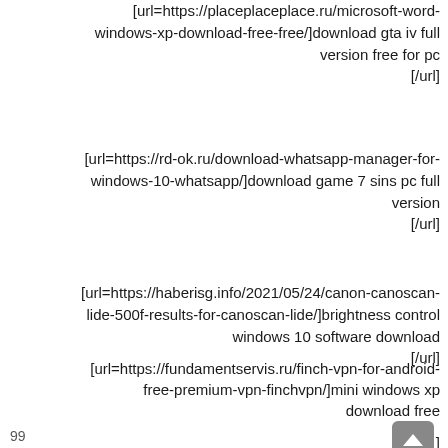[url=https://placeplaceplace.ru/microsoft-word-windows-xp-download-free-free/]download gta iv full version free for pc [/url]
[url=https://rd-ok.ru/download-whatsapp-manager-for-windows-10-whatsapp/]download game 7 sins pc full version [/url]
[url=https://haberisg.info/2021/05/24/canon-canoscan-lide-500f-results-for-canoscan-lide/]brightness control windows 10 software download [/url]
[url=https://fundamentservis.ru/finch-vpn-for-android-free-premium-vpn-finchvpn/]mini windows xp download free [back button icon]/url]
99